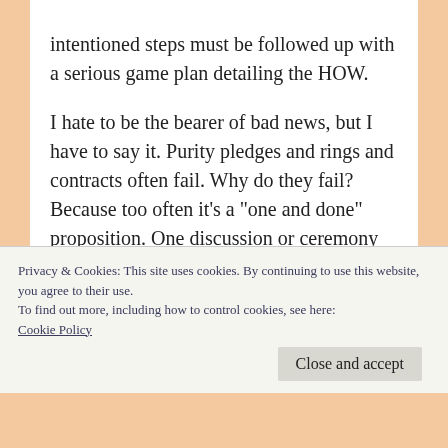intentioned steps must be followed up with a serious game plan detailing the HOW.

I hate to be the bearer of bad news, but I have to say it. Purity pledges and rings and contracts often fail. Why do they fail? Because too often it’s a “one and done” proposition. One discussion or ceremony followed by silence. Little or no accountability. Nothing.
Privacy & Cookies: This site uses cookies. By continuing to use this website, you agree to their use.
To find out more, including how to control cookies, see here: Cookie Policy